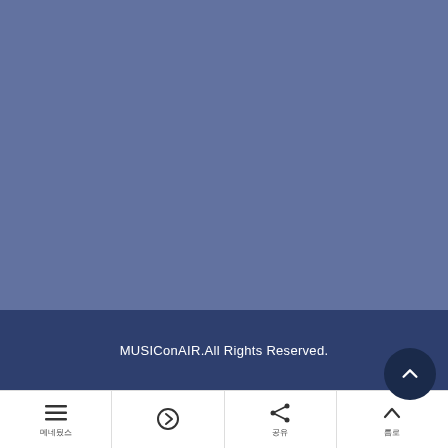[Figure (other): Large blue-grey background area filling the upper portion of the page]
MUSIConAIR.All Rights Reserved.
[Figure (other): Dark circular scroll-to-top button with upward chevron arrow]
[Figure (other): Bottom navigation bar with four items: hamburger menu icon with Korean label, forward arrow icon, share icon with Korean label, and upward chevron icon with Korean label]